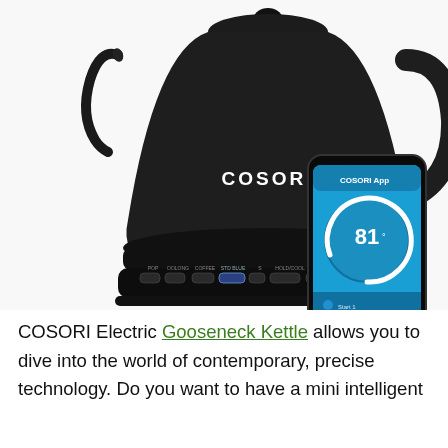[Figure (photo): COSORI brand black gooseneck electric kettle with a slim spout, conical body, control base with preset buttons, sitting next to a smartphone displaying the COSORI app showing temperature 81 degrees on a blue interface.]
COSORI Electric Gooseneck Kettle allows you to dive into the world of contemporary, precise technology. Do you want to have a mini intelligent